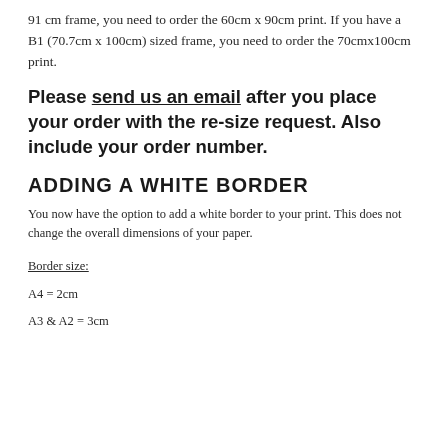91 cm frame, you need to order the 60cm x 90cm print. If you have a B1 (70.7cm x 100cm) sized frame, you need to order the 70cmx100cm print.
Please send us an email after you place your order with the re-size request. Also include your order number.
ADDING A WHITE BORDER
You now have the option to add a white border to your print. This does not change the overall dimensions of your paper.
Border size:
A4 = 2cm
A3 & A2 = 3cm